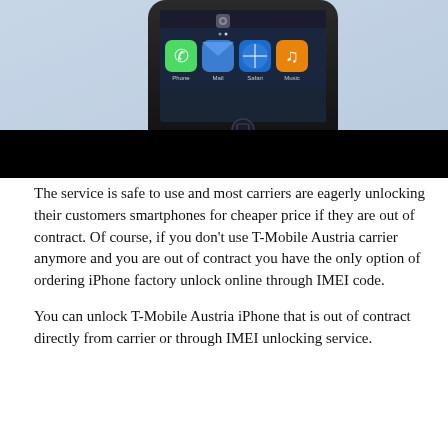[Figure (photo): A black iPhone photographed from above at an angle, showing the home screen with app icons including Phone, Mail, Safari, and Music. The bottom portion of the image is blacked out.]
The service is safe to use and most carriers are eagerly unlocking their customers smartphones for cheaper price if they are out of contract. Of course, if you don't use T-Mobile Austria carrier anymore and you are out of contract you have the only option of ordering iPhone factory unlock online through IMEI code.
You can unlock T-Mobile Austria iPhone that is out of contract directly from carrier or through IMEI unlocking service.